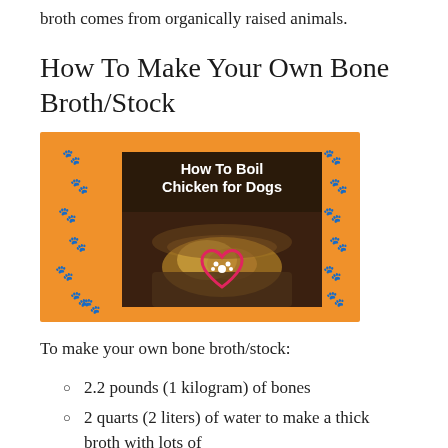broth comes from organically raised animals.
How To Make Your Own Bone Broth/Stock
[Figure (photo): Orange background image with paw print decorations and a dark center photo showing boiling chicken with text 'How To Boil Chicken for Dogs' and a heart-paw logo.]
To make your own bone broth/stock:
2.2 pounds (1 kilogram) of bones
2 quarts (2 liters) of water to make a thick broth with lots of